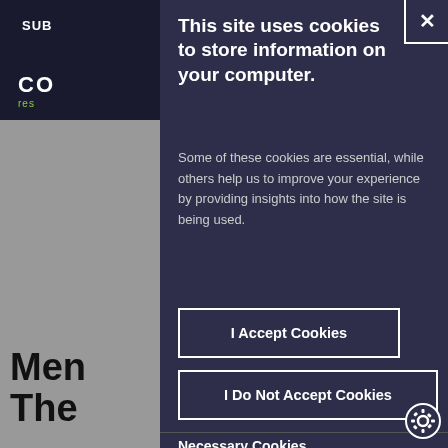SUB
CO
res
This site uses cookies to store information on your computer.
Some of these cookies are essential, while others help us to improve your experience by providing insights into how the site is being used.
I Accept Cookies
I Do Not Accept Cookies
Men
The
Necessary Cookies
Necessary cookies enable core functio